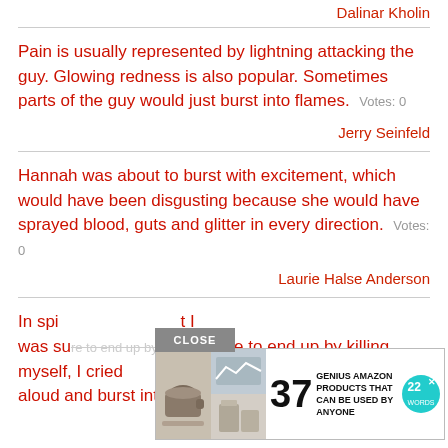Dalinar Kholin
Pain is usually represented by lightning attacking the guy. Glowing redness is also popular. Sometimes parts of the guy would just burst into flames.   Votes: 0
Jerry Seinfeld
Hannah was about to burst with excitement, which would have been disgusting because she would have sprayed blood, guts and glitter in every direction.   Votes: 0
Laurie Halse Anderson
[Figure (screenshot): Advertisement overlay showing coffee mug images, the number 37, text 'GENIUS AMAZON PRODUCTS THAT CAN BE USED BY ANYONE', and a 22 Words logo with an X button. A CLOSE button is shown above the ad.]
In spi... ...t I was sure to end up by killing myself, I cried aloud and burst into tears.   Votes: 0